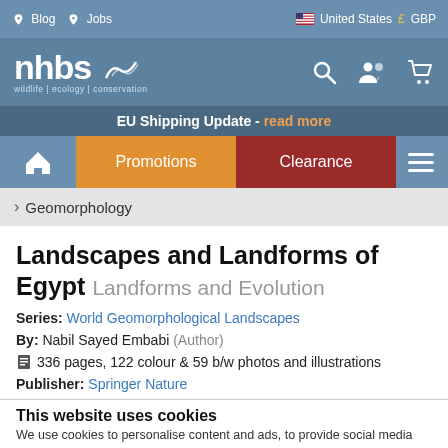Blog | Jobs | United States | GBP
[Figure (logo): NHBS wildlife | ecology | conservation logo with search, users, and cart icons]
EU Shipping Update - read more
Home | Promotions | Clearance | Menu
> Geomorphology
Landscapes and Landforms of Egypt Landforms and Evolution
Series: World Geomorphological Landscapes
By: Nabil Sayed Embabi (Author)
336 pages, 122 colour & 59 b/w photos and illustrations
Publisher: Springer Nature
This website uses cookies
We use cookies to personalise content and ads, to provide social media